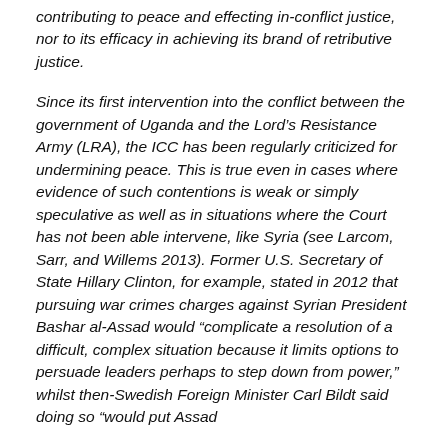contributing to peace and effecting in-conflict justice, nor to its efficacy in achieving its brand of retributive justice.
Since its first intervention into the conflict between the government of Uganda and the Lord’s Resistance Army (LRA), the ICC has been regularly criticized for undermining peace. This is true even in cases where evidence of such contentions is weak or simply speculative as well as in situations where the Court has not been able intervene, like Syria (see Larcom, Sarr, and Willems 2013). Former U.S. Secretary of State Hillary Clinton, for example, stated in 2012 that pursuing war crimes charges against Syrian President Bashar al-Assad would “complicate a resolution of a difficult, complex situation because it limits options to persuade leaders perhaps to step down from power,” whilst then-Swedish Foreign Minister Carl Bildt said doing so “would put Assad